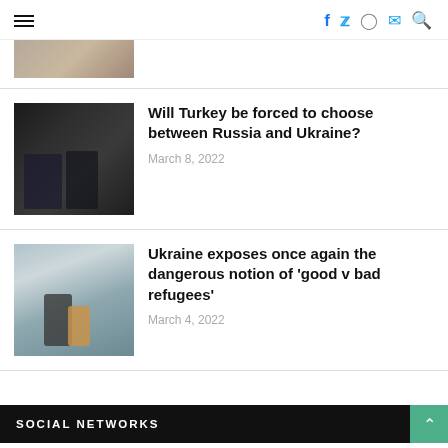≡  f  🐦  📷  ✉  🔍
[Figure (photo): Partial image of a textured brown surface, cropped at top]
Will Turkey be forced to choose between Russia and Ukraine?
March 8, 2022
[Figure (photo): Two men in dark suits walking together indoors]
Ukraine exposes once again the dangerous notion of 'good v bad refugees'
March 4, 2022
[Figure (photo): Two people hugging outdoors in winter setting]
SOCIAL NETWORKS